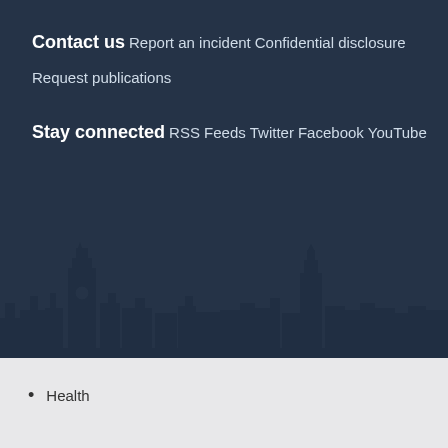Contact us
Report an incident
Confidential disclosure
Request publications
Stay connected
RSS Feeds
Twitter
Facebook
YouTube
Health